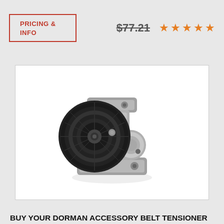PRICING & INFO
$77.21
[Figure (other): Five orange star rating icons]
[Figure (photo): Photo of a Dorman accessory belt tensioner kit — a metal automotive belt tensioner with a black ribbed pulley wheel attached to a silver cast metal bracket/housing]
BUY YOUR DORMAN ACCESSORY BELT TENSIONER KIT DORMAN TECHOICE, LIFETIME DORM